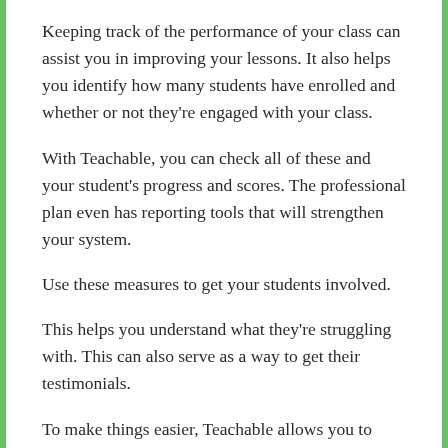Keeping track of the performance of your class can assist you in improving your lessons. It also helps you identify how many students have enrolled and whether or not they're engaged with your class.
With Teachable, you can check all of these and your student's progress and scores. The professional plan even has reporting tools that will strengthen your system.
Use these measures to get your students involved.
This helps you understand what they're struggling with. This can also serve as a way to get their testimonials.
To make things easier, Teachable allows you to integrate with Google Analytics. This allows you to monitor the amount of traffic to your site and turn these leads to revenue.